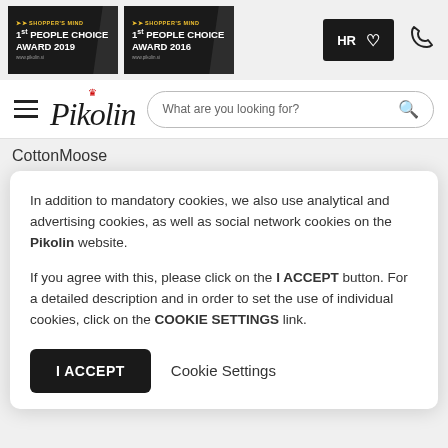[Figure (screenshot): Two award badges: 1st People Choice Award 2019 and 1st People Choice Award 2016, Shopper's Mind]
HR
CottonMoose
In addition to mandatory cookies, we also use analytical and advertising cookies, as well as social network cookies on the Pikolin website.

If you agree with this, please click on the I ACCEPT button. For a detailed description and in order to set the use of individual cookies, click on the COOKIE SETTINGS link.
I ACCEPT
Cookie Settings